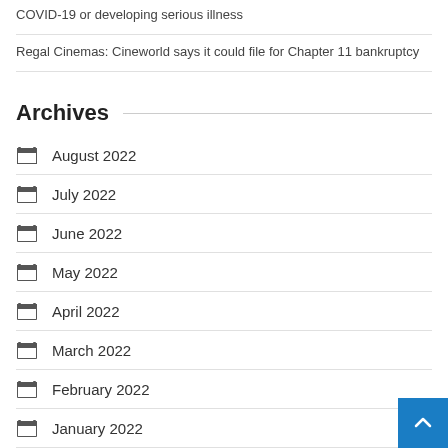COVID-19 or developing serious illness
Regal Cinemas: Cineworld says it could file for Chapter 11 bankruptcy
Archives
August 2022
July 2022
June 2022
May 2022
April 2022
March 2022
February 2022
January 2022